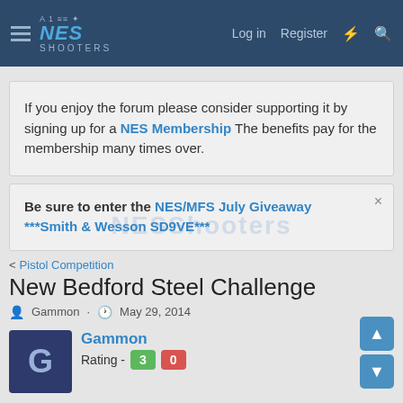NES Shooters - Log in  Register
If you enjoy the forum please consider supporting it by signing up for a NES Membership  The benefits pay for the membership many times over.
Be sure to enter the NES/MFS July Giveaway ***Smith & Wesson SD9VE***
< Pistol Competition
New Bedford Steel Challenge
Gammon · May 29, 2014
Gammon  Rating - 100%  3  0